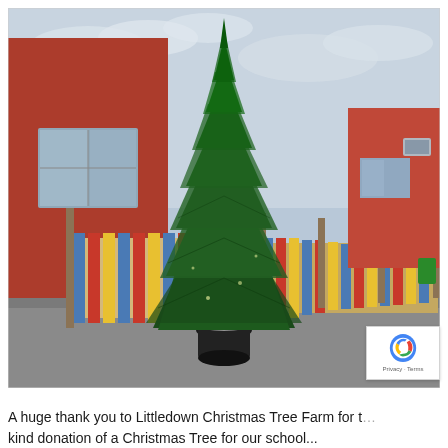[Figure (photo): A large green Christmas tree in a black pot, standing in front of a colourful painted wooden pallet fence outside a red brick school building. The fence panels are painted in blue, red, and yellow stripes. A residential building is visible in the background on the right.]
A huge thank you to Littledown Christmas Tree Farm for t… kind donation of a Christmas Tree for our school...